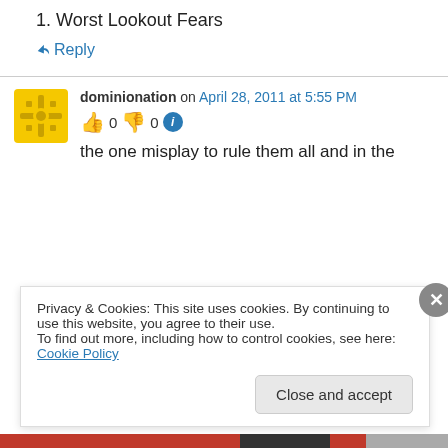1. Worst Lookout Fears
↪ Reply
dominionation on April 28, 2011 at 5:55 PM
👍 0 👎 0 ℹ
the one misplay to rule them all and in the
Privacy & Cookies: This site uses cookies. By continuing to use this website, you agree to their use.
To find out more, including how to control cookies, see here: Cookie Policy
Close and accept